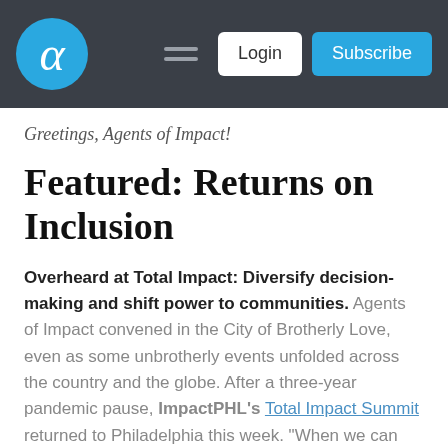Alpha — Login | Subscribe
Greetings, Agents of Impact!
Featured: Returns on Inclusion
Overheard at Total Impact: Diversify decision-making and shift power to communities. Agents of Impact convened in the City of Brotherly Love, even as some unbrotherly events unfolded across the country and the globe. After a three-year pandemic pause, ImpactPHL's Total Impact Summit returned to Philadelphia this week. "When we can get [investors] to be